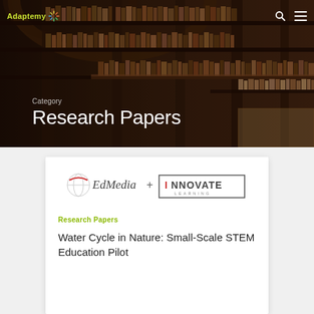[Figure (screenshot): Adaptemy website header with library background photo showing tall bookshelves, navigation bar with logo, search and menu icons]
Category
Research Papers
[Figure (logo): EdMedia + Innovate Learning conference logo]
Research Papers
Water Cycle in Nature: Small-Scale STEM Education Pilot